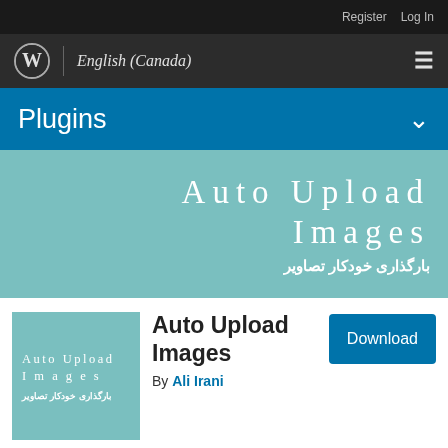Register  Log In
WordPress logo | English (Canada) ≡
Plugins
Auto Upload Images
بارگذاری خودکار تصاویر
[Figure (logo): Auto Upload Images plugin thumbnail with text 'Auto Upload Images' and Persian subtitle on teal background]
Auto Upload Images
By Ali Irani
Download